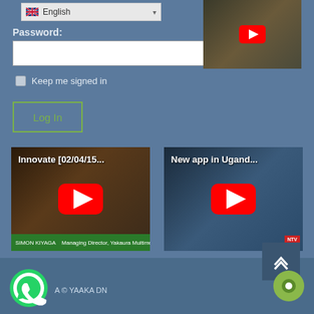[Figure (screenshot): Language selector dropdown showing English with UK flag]
Password:
[Figure (screenshot): Password input text field (empty)]
Keep me signed in
[Figure (screenshot): Log In button with olive green border]
[Figure (screenshot): YouTube video thumbnail top right]
[Figure (screenshot): YouTube video thumbnail: Innovate [02/04/15...]
[Figure (screenshot): YouTube video thumbnail: New app in Ugand...]
A © YAAKA DN
A © YAAKA DN